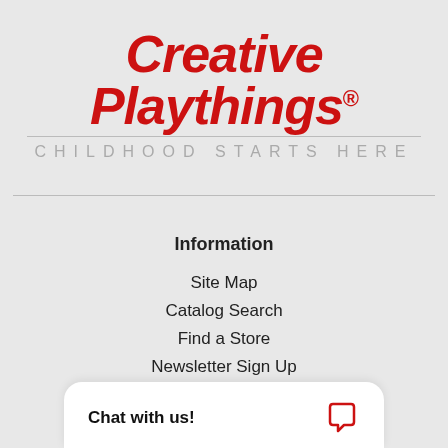Creative Playthings®
CHILDHOOD STARTS HERE
Information
Site Map
Catalog Search
Find a Store
Newsletter Sign Up
Photo Gallery
Augmented Reality
Blog
Chat with us!